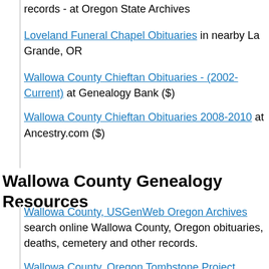records - at Oregon State Archives
Loveland Funeral Chapel Obituaries in nearby La Grande, OR
Wallowa County Chieftan Obituaries - (2002-Current) at Genealogy Bank ($)
Wallowa County Chieftan Obituaries 2008-2010 at Ancestry.com ($)
Wallowa County Genealogy Resources
Wallowa County, USGenWeb Oregon Archives search online Wallowa County, Oregon obituaries, deaths, cemetery and other records.
Wallowa County, Oregon Tombstone Project search cemetery transcriptions for Wallowa County.
Wallowa County, Oregon Genealogy Links over 50,000